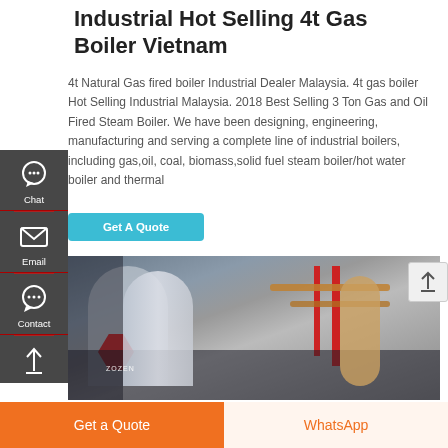Industrial Hot Selling 4t Gas Boiler Vietnam
4t Natural Gas fired boiler Industrial Dealer Malaysia. 4t gas boiler Hot Selling Industrial Malaysia. 2018 Best Selling 3 Ton Gas and Oil Fired Steam Boiler. We have been designing, engineering, manufacturing and serving a complete line of industrial boilers, including gas,oil, coal, biomass,solid fuel steam boiler/hot water boiler and thermal
[Figure (photo): Industrial boiler facility showing large cylindrical boilers with piping, red pipes, and copper-colored ducts in an industrial setting with a company logo mark]
Get A Quote
Chat
Email
Contact
Get a Quote
WhatsApp